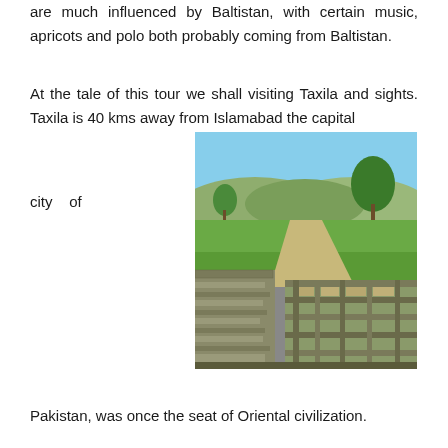are much influenced by Baltistan, with certain music, apricots and polo both probably coming from Baltistan.
At the tale of this tour we shall visiting Taxila and sights. Taxila is 40 kms away from Islamabad the capital city of
[Figure (photo): Archaeological ruins at Taxila showing stone foundations of ancient structures with green grass, hills and trees in the background under a clear blue sky.]
Pakistan, was once the seat of Oriental civilization.